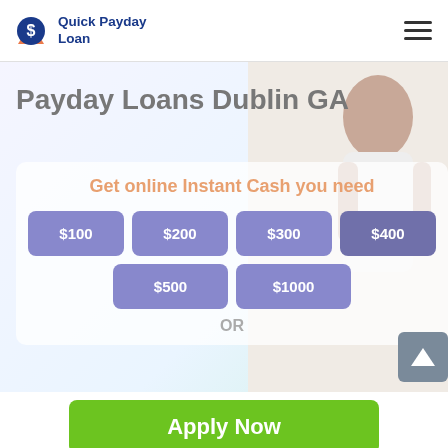[Figure (logo): Quick Payday Loan logo with orange circle S icon and blue text]
Payday Loans Dublin GA
Get online Instant Cash you need
$100
$200
$300
$400
$500
$1000
OR
Apply Now
Applying does NOT affect your credit score!
No credit check to apply.